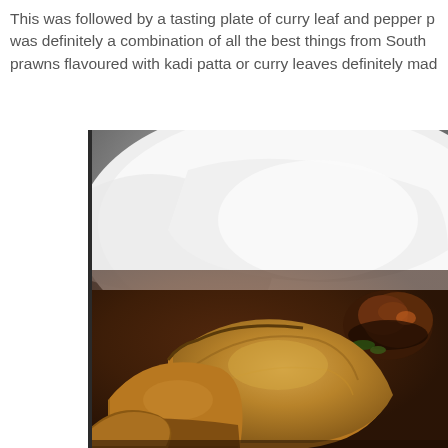This was followed by a tasting plate of curry leaf and pepper p... was definitely a combination of all the best things from South... prawns flavoured with kadi patta or curry leaves definitely mad...
[Figure (photo): Close-up photo of food on a white ceramic dish: golden-brown toasted bread slices in the foreground, with dark glazed meat or prawns and garnish visible in the background right.]